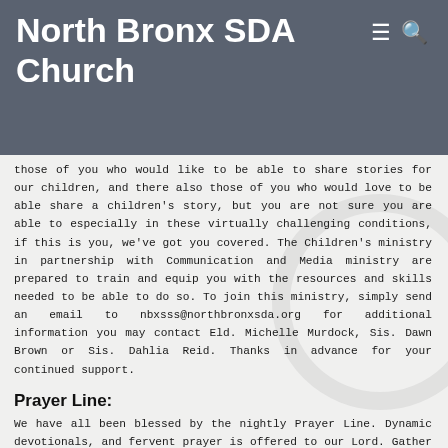North Bronx SDA Church
those of you who would like to be able to share stories for our children, and there also those of you who would love to be able share a children's story, but you are not sure you are able to especially in these virtually challenging conditions, if this is you, we've got you covered. The Children's ministry in partnership with Communication and Media ministry are prepared to train and equip you with the resources and skills needed to be able to do so. To join this ministry, simply send an email to nbxsss@northbronxsda.org for additional information you may contact Eld. Michelle Murdock, Sis. Dawn Brown or Sis. Dahlia Reid. Thanks in advance for your continued support.
Prayer Line:
We have all been blessed by the nightly Prayer Line. Dynamic devotionals, and fervent prayer is offered to our Lord. Gather the family and join us in